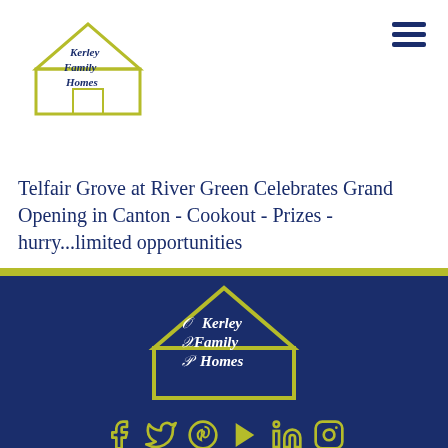[Figure (logo): Kerley Family Homes logo - house outline with script text, olive/navy colors, top left]
[Figure (other): Hamburger menu icon (three horizontal navy bars), top right]
Telfair Grove at River Green Celebrates Grand Opening in Canton - Cookout - Prizes - hurry...limited opportunities
[Figure (logo): Kerley Family Homes logo - house outline with script text, white/gold on navy background, centered in footer]
[Figure (other): Social media icons row: Facebook, Twitter, Pinterest, YouTube, LinkedIn, Instagram - in gold/olive color on navy background]